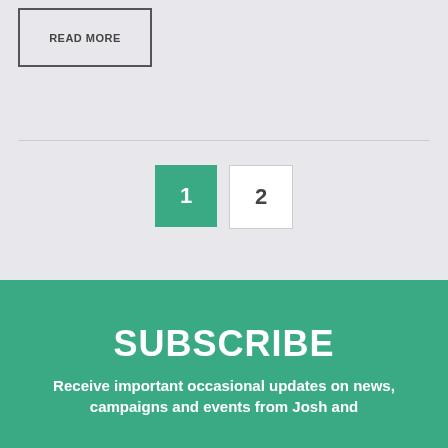READ MORE
1
2
SUBSCRIBE
Receive important occasional updates on news, campaigns and events from Josh and